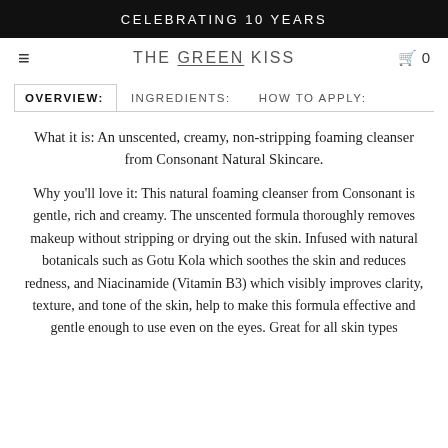CELEBRATING 10 YEARS
THE GREEN KISS
OVERVIEW:   INGREDIENTS:   HOW TO APPLY:
What it is: An unscented, creamy, non-stripping foaming cleanser from Consonant Natural Skincare.
Why you'll love it: This natural foaming cleanser from Consonant is gentle, rich and creamy. The unscented formula thoroughly removes makeup without stripping or drying out the skin. Infused with natural botanicals such as Gotu Kola which soothes the skin and reduces redness, and Niacinamide (Vitamin B3) which visibly improves clarity, texture, and tone of the skin, help to make this formula effective and gentle enough to use even on the eyes. Great for all skin types